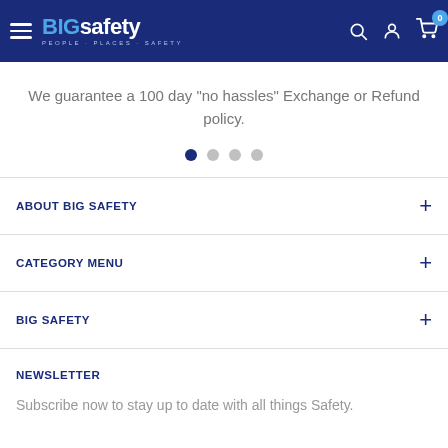BIGsafety - PEOPLE · PLACES · SAFETY
We guarantee a 100 day "no hassles" Exchange or Refund policy.
ABOUT BIG SAFETY
CATEGORY MENU
BIG SAFETY
NEWSLETTER
Subscribe now to stay up to date with all things Safety.